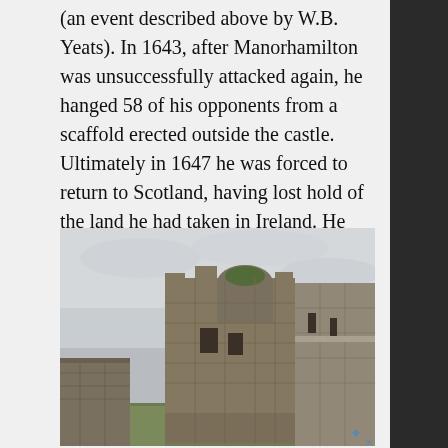(an event described above by W.B. Yeats). In 1643, after Manorhamilton was unsuccessfully attacked again, he hanged 58 of his opponents from a scaffold erected outside the castle. Ultimately in 1647 he was forced to return to Scotland, having lost hold of the land he had taken in Ireland. He died soon afterwards in Edinburgh.
[Figure (photo): Photograph of the ruins of Manorhamilton Castle showing stone walls and a tower under a cloudy sky, with green grass in the foreground.]